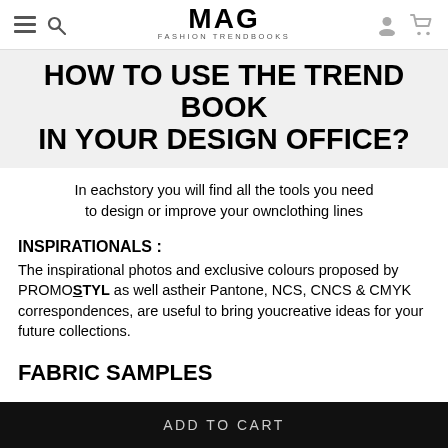MAG FASHION TRENDBOOKS — navigation bar with menu, search, user, cart icons
HOW TO USE THE TREND BOOK IN YOUR DESIGN OFFICE?
In eachstory you will find all the tools you need to design or improve your ownclothing lines
INSPIRATIONALS :
The inspirational photos and exclusive colours proposed by PROMOSTYL as well astheir Pantone, NCS, CNCS & CMYK correspondences, are useful to bring youcreative ideas for your future collections.
FABRIC SAMPLES
ADD TO CART